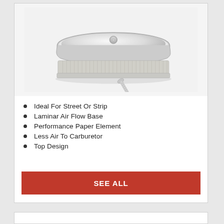[Figure (photo): Circular chrome air cleaner assembly with pleated paper filter element and a mounting bolt/screw displayed beside it, on a white background]
Ideal For Street Or Strip
Laminar Air Flow Base
Performance Paper Element
Less Air To Carburetor
Top Design
SEE ALL